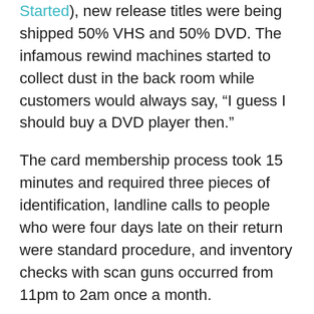Started), new release titles were being shipped 50% VHS and 50% DVD. The infamous rewind machines started to collect dust in the back room while customers would always say, “I guess I should buy a DVD player then.”
The card membership process took 15 minutes and required three pieces of identification, landline calls to people who were four days late on their return were standard procedure, and inventory checks with scan guns occurred from 11pm to 2am once a month.
These were good days – days of innocence and entertainment that you earned.
Obviously, accessing entertainment online from and in the comfort of your own home will